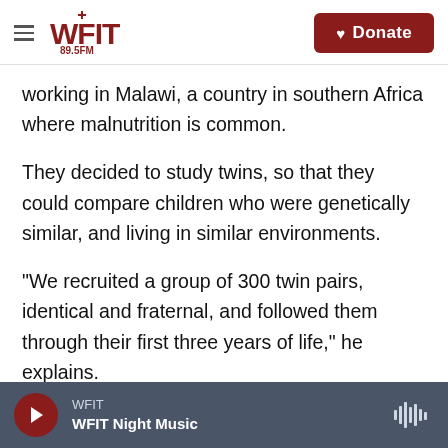WFIT 89.5FM | Donate
working in Malawi, a country in southern Africa where malnutrition is common.
They decided to study twins, so that they could compare children who were genetically similar, and living in similar environments.
"We recruited a group of 300 twin pairs, identical and fraternal, and followed them through their first three years of life," he explains.
None of these twins, at the beginning, were malnourished. But when they came back for
WFIT | WFIT Night Music